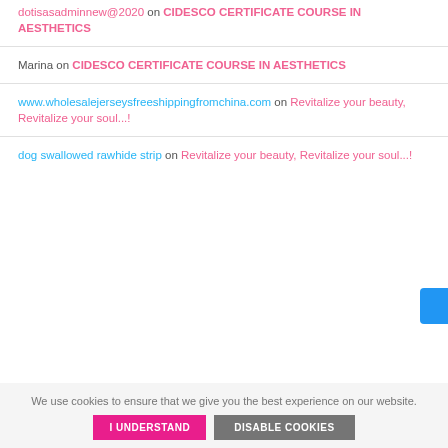dotisasadminnew@2020 on CIDESCO CERTIFICATE COURSE IN AESTHETICS
Marina on CIDESCO CERTIFICATE COURSE IN AESTHETICS
www.wholesalejerseysfreeshippingfromchina.com on Revitalize your beauty, Revitalize your soul...!
dog swallowed rawhide strip on Revitalize your beauty, Revitalize your soul...!
We use cookies to ensure that we give you the best experience on our website.
I UNDERSTAND
DISABLE COOKIES